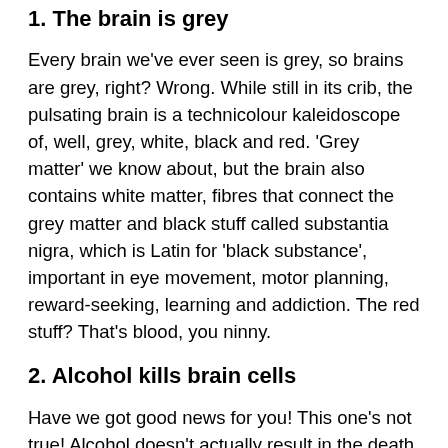1. The brain is grey
Every brain we've ever seen is grey, so brains are grey, right? Wrong. While still in its crib, the pulsating brain is a technicolour kaleidoscope of, well, grey, white, black and red. 'Grey matter' we know about, but the brain also contains white matter, fibres that connect the grey matter and black stuff called substantia nigra, which is Latin for 'black substance', important in eye movement, motor planning, reward-seeking, learning and addiction. The red stuff? That's blood, you ninny.
2. Alcohol kills brain cells
Have we got good news for you! This one's not true! Alcohol doesn't actually result in the death of brain cells. It can make them a bit redundant by screwing up how the cells communicate, but researchers believe this damage is mostly reversible. So while alcohol doesn't kill brain cells, it can still damage your brain if you drink in mass quantities,